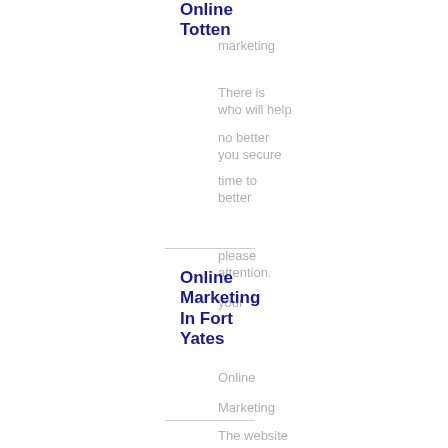Online
Totten
marketing
There is who will help
no better you secure
time to better
please attention.
your
Online Marketing In Fort Yates
Online
Marketing
The website
website presence
marketing and new
rts at customers
flower that
Online Marketing In Fortuna
Online
marketing
The best marketing
websites there to
will help are those
help you your